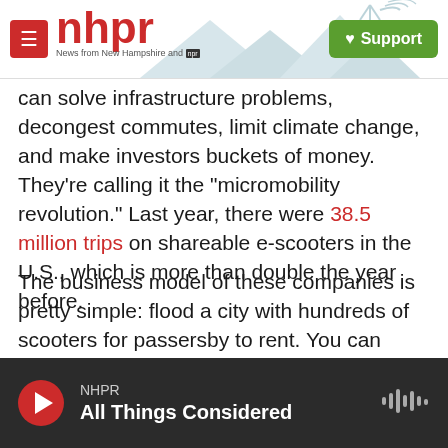nhpr — News from New Hampshire and NPR | Support
can solve infrastructure problems, decongest commutes, limit climate change, and make investors buckets of money. They're calling it the "micromobility revolution." Last year, there were 38.5 million trips on shareable e-scooters in the U.S., which is more than double the year before.
The business model of these companies is pretty simple: flood a city with hundreds of scooters for passersby to rent. You can locate and pay for them using your smartphone, and they typically cost $1 plus 15 cents per minute. Then leave them wherever you want.
NHPR — All Things Considered